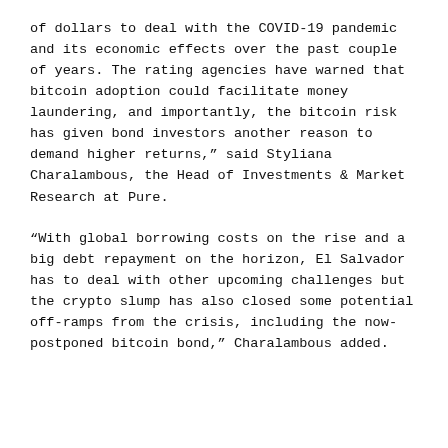of dollars to deal with the COVID-19 pandemic and its economic effects over the past couple of years. The rating agencies have warned that bitcoin adoption could facilitate money laundering, and importantly, the bitcoin risk has given bond investors another reason to demand higher returns," said Styliana Charalambous, the Head of Investments & Market Research at Pure.
"With global borrowing costs on the rise and a big debt repayment on the horizon, El Salvador has to deal with other upcoming challenges but the crypto slump has also closed some potential off-ramps from the crisis, including the now-postponed bitcoin bond," Charalambous added.